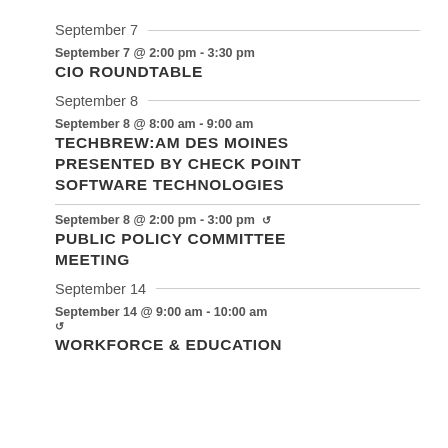September 7
September 7 @ 2:00 pm - 3:30 pm
CIO ROUNDTABLE
September 8
September 8 @ 8:00 am - 9:00 am
TECHBREW:AM DES MOINES PRESENTED BY CHECK POINT SOFTWARE TECHNOLOGIES
September 8 @ 2:00 pm - 3:00 pm
PUBLIC POLICY COMMITTEE MEETING
September 14
September 14 @ 9:00 am - 10:00 am
WORKFORCE & EDUCATION